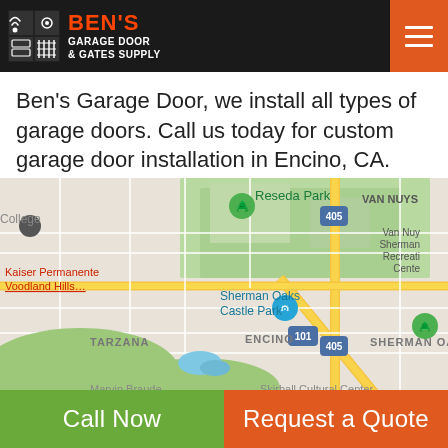Ben's Garage Door & Gates Supply
Ben's Garage Door, we install all types of garage doors. Call us today for custom garage door installation in Encino, CA.
[Figure (map): Google Maps screenshot showing the area around Encino, CA with landmarks: Reseda Park, Kaiser Permanente Woodland Hills, Sherman Oaks Castle Park, Van Nuys, Tarzana, Sherman Oaks, Skirball Cultural Center, Marvin Braude Mulholland, highways 405 and 101 labeled.]
Call Now
Request a Quote